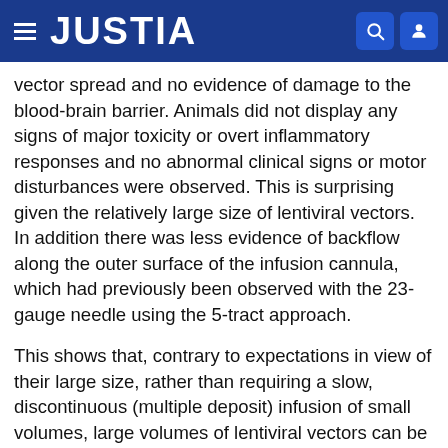JUSTIA
vector spread and no evidence of damage to the blood-brain barrier. Animals did not display any signs of major toxicity or overt inflammatory responses and no abnormal clinical signs or motor disturbances were observed. This is surprising given the relatively large size of lentiviral vectors. In addition there was less evidence of backflow along the outer surface of the infusion cannula, which had previously been observed with the 23-gauge needle using the 5-tract approach.
This shows that, contrary to expectations in view of their large size, rather than requiring a slow, discontinuous (multiple deposit) infusion of small volumes, large volumes of lentiviral vectors can be “pushed” through the neuronal matrix between cells using fluid convection without causing obvious signs of tissue damage and resulting in superior vector distribution within the target